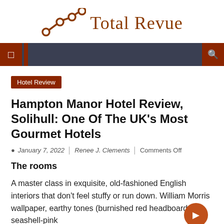Total Revue
Navigation bar with icons
Hotel Review
Hampton Manor Hotel Review, Solihull: One Of The UK's Most Gourmet Hotels
January 7, 2022 | Renee J. Clements | Comments Off
The rooms
A master class in exquisite, old-fashioned English interiors that don't feel stuffy or run down. William Morris wallpaper, earthy tones (burnished red headboards, seashell-pink